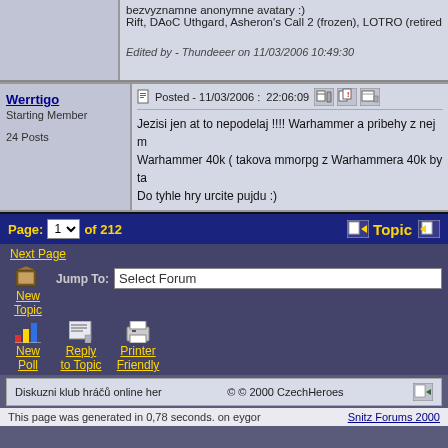bezvyznamne anonymne avatary :)
Rift, DAoC Uthgard, Asheron's Call 2 (frozen), LOTRO (retired), AoC (retire
Edited by - Thundeeer on 11/03/2006 10:49:30
Werrtigo
Starting Member
24 Posts
Posted - 11/03/2006 :  22:06:09
Jezisi jen at to nepodelaj !!!! Warhammer a pribehy z nej m Warhammer 40k ( takova mmorpg z Warhammera 40k by ta Do tyhle hry urcite pujdu :)
Page: 1 of 212   Topic
Next Page
New Topic
Jump To:  Select Forum
New Poll
Reply to Topic
Printer Friendly
Diskuzni klub hráčů online her   © © 2000 CzechHeroes
This page was generated in 0,78 seconds. on eygor   Snitz Forums 2000